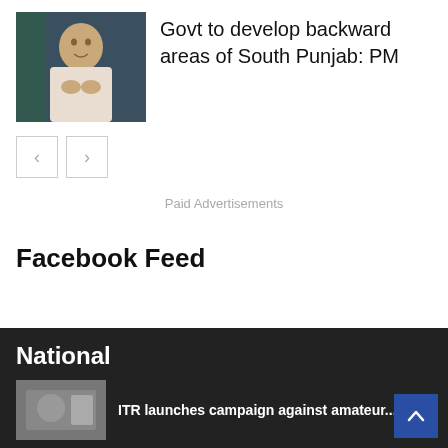[Figure (photo): Photo of a man in white traditional dress speaking or addressing, dark background]
Govt to develop backward areas of South Punjab: PM
[Figure (other): Navigation left/right arrow buttons]
Paid Advertisements
Facebook Feed
National
[Figure (photo): Small thumbnail image in footer]
ITR launches campaign against amateur...